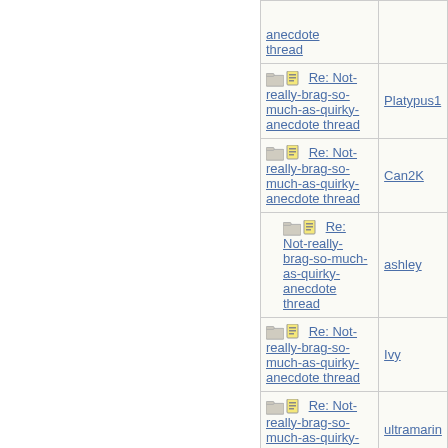| Thread | Author |
| --- | --- |
| anecdote thread |  |
| Re: Not-really-brag-so-much-as-quirky-anecdote thread | Platypus1 |
| Re: Not-really-brag-so-much-as-quirky-anecdote thread | Can2K |
| Re: Not-really-brag-so-much-as-quirky-anecdote thread | ashley |
| Re: Not-really-brag-so-much-as-quirky-anecdote thread | Ivy |
| Re: Not-really-brag-so-much-as-quirky-anecdote thread | ultramarin |
| Re: Not-really-brag-so-much-as-quirky-anecdote thread | Dude |